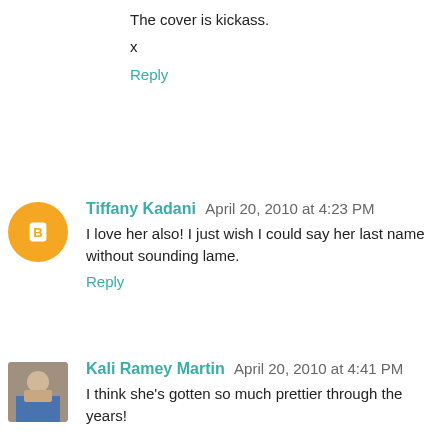The cover is kickass.
x
Reply
Tiffany Kadani April 20, 2010 at 4:23 PM
I love her also! I just wish I could say her last name without sounding lame.
Reply
Kali Ramey Martin April 20, 2010 at 4:41 PM
I think she's gotten so much prettier through the years!

Cute!
Reply
Laura Trevey April 20, 2010 at 4:57 PM
I love these!!!